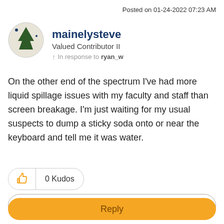Posted on 01-24-2022 07:23 AM
mainelysteve
Valued Contributor II
In response to ryan_w
On the other end of the spectrum I've had more liquid spillage issues with my faculty and staff than screen breakage. I'm just waiting for my usual suspects to dump a sticky soda onto or near the keyboard and tell me it was water.
0 Kudos
Share
Reply